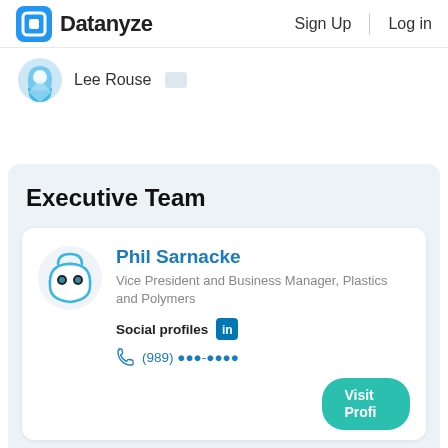Datanyze  Sign Up  Log in
Lee Rouse
Executive Team
Phil Sarnacke
Vice President and Business Manager, Plastics and Polymers
Social profiles [LinkedIn]
(989) ***-****